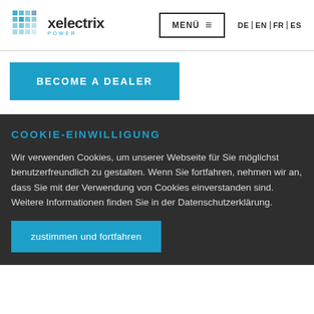xelectrix POWER — MENÜ | DE EN FR ES
BECOME A DEALER
COOKIE-EINWILLIGUNG
Wir verwenden Cookies, um unserer Webseite für Sie möglichst benutzerfreundlich zu gestalten. Wenn Sie fortfahren, nehmen wir an, dass Sie mit der Verwendung von Cookies einverstanden sind. Weitere Informationen finden Sie in der Datenschutzerklärung.
zustimmen und fortfahren